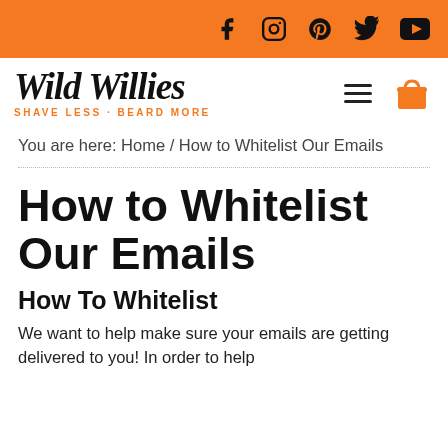Wild Willies — SHAVE LESS · BEARD MORE — Social icons: Facebook, Instagram, Pinterest, Twitter, YouTube
You are here: Home / How to Whitelist Our Emails
How to Whitelist Our Emails
How To Whitelist
We want to help make sure your emails are getting delivered to you! In order to help